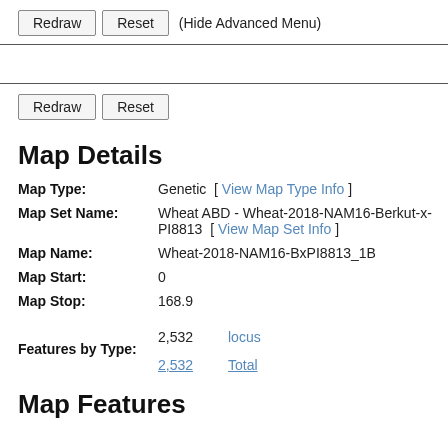Redraw  Reset  (Hide Advanced Menu)
Redraw  Reset
Map Details
| Field | Value |
| --- | --- |
| Map Type: | Genetic [ View Map Type Info ] |
| Map Set Name: | Wheat ABD - Wheat-2018-NAM16-Berkut-x-PI8813 [ View Map Set Info ] |
| Map Name: | Wheat-2018-NAM16-BxPI8813_1B |
| Map Start: | 0 |
| Map Stop: | 168.9 |
| Features by Type: | 2,532   locus
2,532   Total |
Map Features